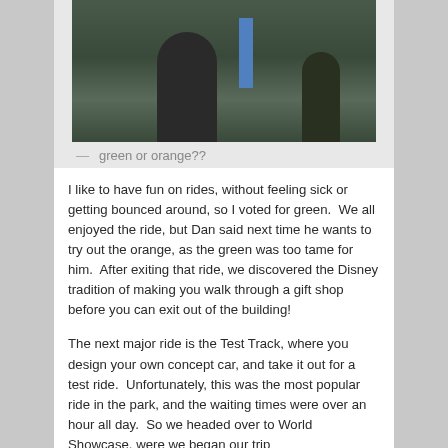[Figure (photo): Two people viewed from behind standing in front of a sign/display, with greenery and a blue flag visible in the background.]
— green or orange??
I like to have fun on rides, without feeling sick or getting bounced around, so I voted for green.  We all enjoyed the ride, but Dan said next time he wants to try out the orange, as the green was too tame for him.  After exiting that ride, we discovered the Disney tradition of making you walk through a gift shop before you can exit out of the building!
The next major ride is the Test Track, where you design your own concept car, and take it out for a test ride.  Unfortunately, this was the most popular ride in the park, and the waiting times were over an hour all day.  So we headed over to World Showcase, were we began our trip